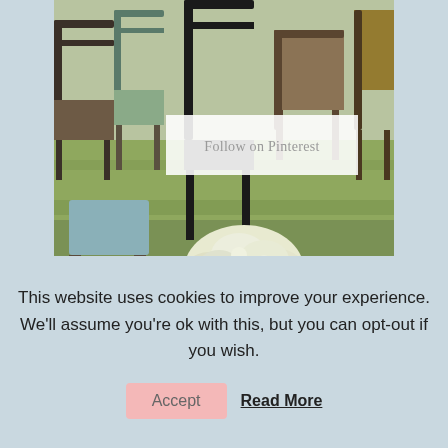[Figure (photo): Outdoor scene with mismatched vintage chairs arranged on grass, white hydrangea bouquet in foreground, with a white overlay box reading 'Follow on Pinterest']
LET'S CONNECT
This website uses cookies to improve your experience. We'll assume you're ok with this, but you can opt-out if you wish.
Accept   Read More